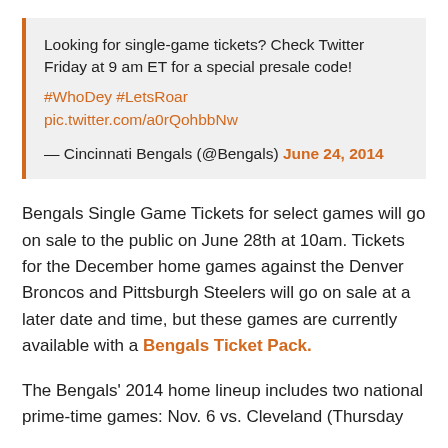Looking for single-game tickets? Check Twitter Friday at 9 am ET for a special presale code! #WhoDey #LetsRoar pic.twitter.com/a0rQohbbNw
— Cincinnati Bengals (@Bengals) June 24, 2014
Bengals Single Game Tickets for select games will go on sale to the public on June 28th at 10am. Tickets for the December home games against the Denver Broncos and Pittsburgh Steelers will go on sale at a later date and time, but these games are currently available with a Bengals Ticket Pack.
The Bengals' 2014 home lineup includes two national prime-time games: Nov. 6 vs. Cleveland (Thursday